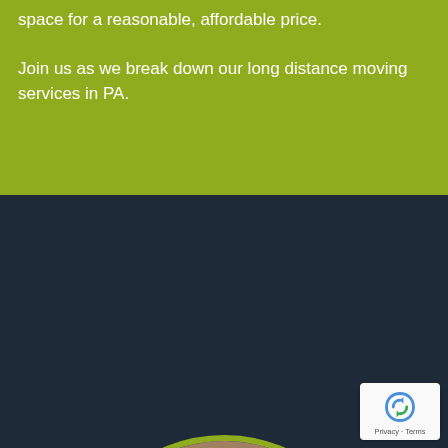space for a reasonable, affordable price.

Join us as we break down our long distance moving services in PA.
[Figure (photo): Two movers in blue uniforms loading a large white appliance or box into a moving truck, shown inside a circular frame with a yellow-green border, set against a dark navy background.]